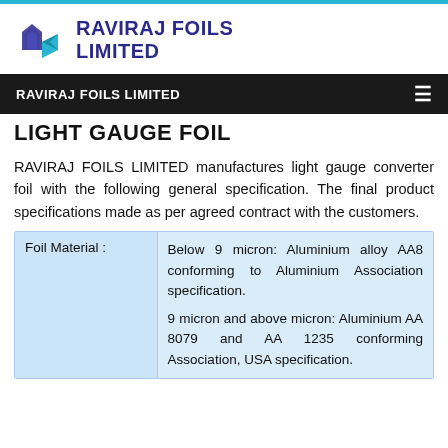[Figure (logo): Raviraj Foils Limited logo with stylized building/foil icon in blue on the left and company name in dark blue bold text on the right]
RAVIRAJ FOILS LIMITED
LIGHT GAUGE FOIL
RAVIRAJ FOILS LIMITED manufactures light gauge converter foil with the following general specification. The final product specifications made as per agreed contract with the customers.
| Foil Material : | Description |
| --- | --- |
| Foil Material : | Below 9 micron: Aluminium alloy AA8 conforming to Aluminium Association specification.

9 micron and above micron: Aluminium AA 8079 and AA 1235 conforming Association, USA specification. |